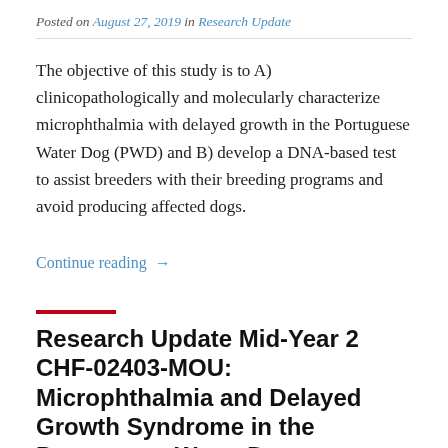Posted on August 27, 2019 in Research Update
The objective of this study is to A) clinicopathologically and molecularly characterize microphthalmia with delayed growth in the Portuguese Water Dog (PWD) and B) develop a DNA-based test to assist breeders with their breeding programs and avoid producing affected dogs.
Continue reading →
Research Update Mid-Year 2 CHF-02403-MOU: Microphthalmia and Delayed Growth Syndrome in the Portuguese Water Dog